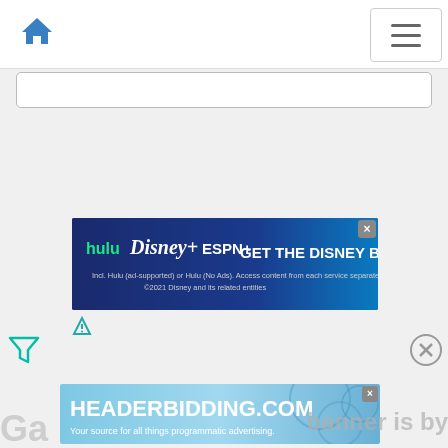[Figure (screenshot): Navigation bar with blue home icon on left and hamburger menu button on right]
[Figure (screenshot): Search input bar, empty, with rounded border]
[Figure (screenshot): Disney Bundle advertisement banner showing hulu, Disney+, ESPN+ logos with text GET THE DISNEY BUNDLE and disclaimer text. Includes X close button and ad attribution icon below.]
[Figure (screenshot): Filter icon (funnel shape) on lower left, and X close circle button on lower right]
[Figure (screenshot): Headerbidding.com advertisement banner with text: HEADERBIDDING.COM Your source for all things programmatic advertising.]